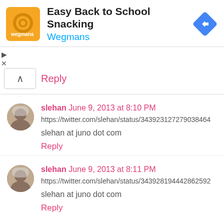[Figure (infographic): Ad banner for Wegmans Easy Back to School Snacking with orange logo, title text, and blue diamond arrow icon]
Reply
slehan June 9, 2013 at 8:10 PM
https://twitter.com/slehan/status/343923127279038464
slehan at juno dot com
Reply
slehan June 9, 2013 at 8:11 PM
https://twitter.com/slehan/status/343928194442862592
slehan at juno dot com
Reply